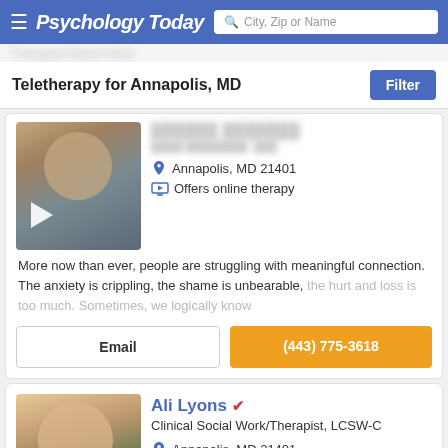Psychology Today — City, Zip or Name search
Teletherapy for Annapolis, MD
[Figure (photo): Therapist male photo with play button overlay]
Annapolis, MD 21401
Offers online therapy
More now than ever, people are struggling with meaningful connection. The anxiety is crippling, the shame is unbearable, the hurt and loss is too much. Sometimes, we logically know
Email
(443) 775-3618
[Figure (photo): Therapist Ali Lyons female headshot]
Ali Lyons — Clinical Social Work/Therapist, LCSW-C
Annapolis, MD 21401
Offers online therapy